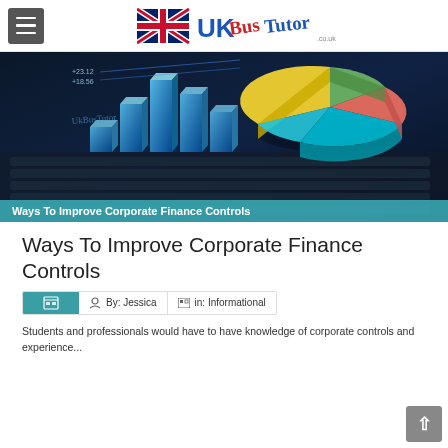UK Bus Tutor
[Figure (photo): Financial data visualization showing blue 3D bar charts on a laptop keyboard alongside a colorful 3D pie chart, with caption 'Ways To Improve Corporate Finance Controls']
Ways To Improve Corporate Finance Controls
By: Jessica  in: Informational
Students and professionals would have to have knowledge of corporate controls and experience...